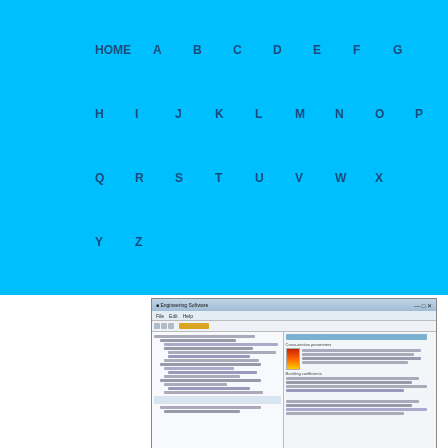HOME A B C D E F G H I J K L M N O P Q R S T U V W X Y Z
[Figure (screenshot): Screenshot of an engineering software application showing code/script on the left panel, a data/results table at the bottom left, and a calculation/formula panel on the right with structural parameters, cross-section parameters, buckling coefficients, and formulas. An orange gradient color scale is visible in the right panel.]
What Is My Engineering Software Doing And How Can I Get It To Do .